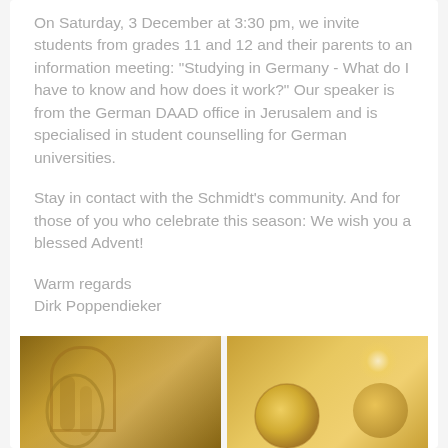On Saturday, 3 December at 3:30 pm, we invite students from grades 11 and 12 and their parents to an information meeting: "Studying in Germany - What do I have to know and how does it work?" Our speaker is from the German DAAD office in Jerusalem and is specialised in student counselling for German universities.
Stay in contact with the Schmidt's community. And for those of you who celebrate this season: We wish you a blessed Advent!
Warm regards
Dirk Poppendieker

Interim Head of School
[Figure (photo): Two decorative photos side by side showing golden ornamental objects, likely candles or decorative spheres, with stone/textured wall background. Advent or Christmas themed imagery.]